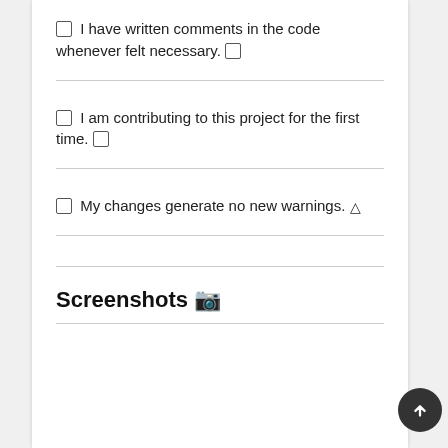[] I have written comments in the code whenever felt necessary. 🔲
[] I am contributing to this project for the first time. 🔲
[] My changes generate no new warnings. ⚠
Screenshots 📷